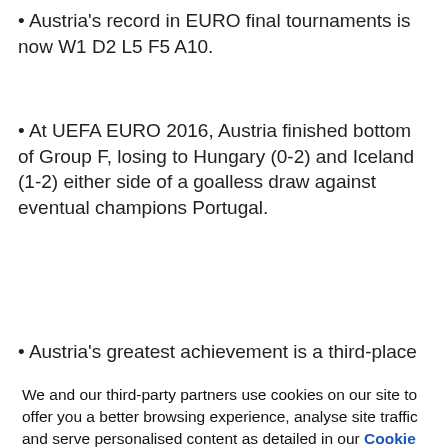• Austria's record in EURO final tournaments is now W1 D2 L5 F5 A10.
• At UEFA EURO 2016, Austria finished bottom of Group F, losing to Hungary (0-2) and Iceland (1-2) either side of a goalless draw against eventual champions Portugal.
• Austria's greatest achievement is a third-place finish
We and our third-party partners use cookies on our site to offer you a better browsing experience, analyse site traffic and serve personalised content as detailed in our Cookie Policy.
✓  Accept all
✗  Reject all
Cookie settings >